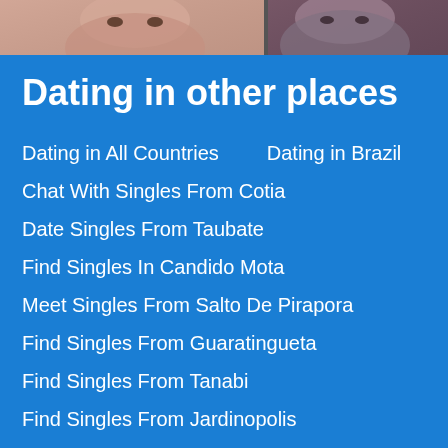[Figure (photo): Two women's photos side by side at the top of the page, partially visible from roughly chin to forehead level.]
Dating in other places
Dating in All Countries
Dating in Brazil
Chat With Singles From Cotia
Date Singles From Taubate
Find Singles In Candido Mota
Meet Singles From Salto De Pirapora
Find Singles From Guaratingueta
Find Singles From Tanabi
Find Singles From Jardinopolis
Find Singles From Francisco Morato